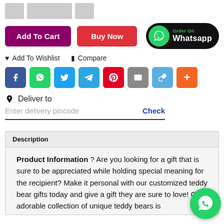[Figure (screenshot): E-commerce product page section showing Add To Cart and Buy Now buttons, Order On Whatsapp button, social sharing icons, delivery pincode input, and product description tab]
Add To Cart
Buy Now
Order On Whatsapp
♥ Add To Wishlist   ⬛ Compare
Deliver to
Enter delivery pincode   Check
Description
Product Information ? Are you looking for a gift that is sure to be appreciated while holding special meaning for the recipient? Make it personal with our customized teddy bear gifts today and give a gift they are sure to love! Our adorable collection of unique teddy bears is